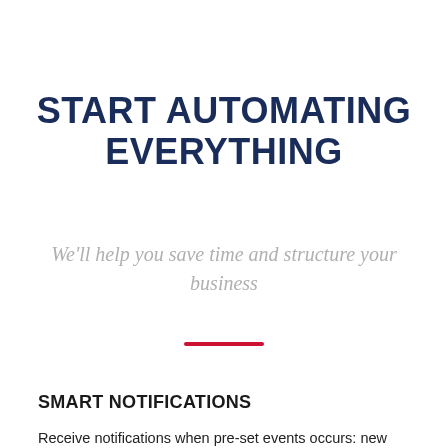START AUTOMATING EVERYTHING
We'll help you save time and structure your business
SMART NOTIFICATIONS
Receive notifications when pre-set events occurs: new customer